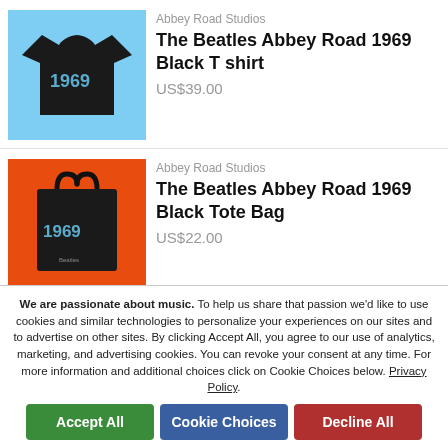[Figure (photo): Black Beatles Abbey Road 1969 T-shirt on a light blue background]
Abbey Road Studios
The Beatles Abbey Road 1969 Black T shirt
US$39.00
[Figure (photo): Black Beatles Abbey Road 1969 Tote Bag on an orange background]
Abbey Road Studios
The Beatles Abbey Road 1969 Black Tote Bag
US$22.00
We are passionate about music. To help us share that passion we'd like to use cookies and similar technologies to personalize your experiences on our sites and to advertise on other sites. By clicking Accept All, you agree to our use of analytics, marketing, and advertising cookies. You can revoke your consent at any time. For more information and additional choices click on Cookie Choices below. Privacy Policy.
Accept All
Cookie Choices
Decline All